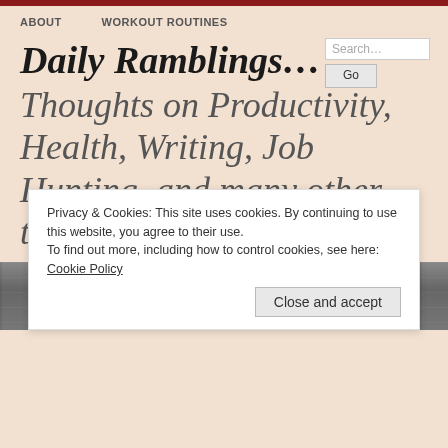ABOUT   WORKOUT ROUTINES
Daily Ramblings… ~
Thoughts on Productivity, Health, Writing, Job Hunting, and many other topics…
[Figure (photo): Black and white photo strip showing a person]
Privacy & Cookies: This site uses cookies. By continuing to use this website, you agree to their use.
To find out more, including how to control cookies, see here: Cookie Policy
Close and accept